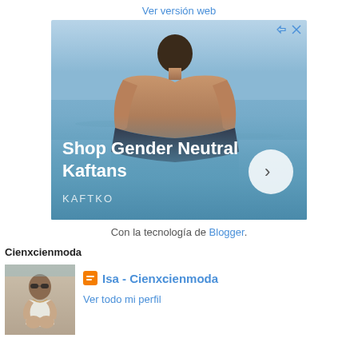Ver versión web
[Figure (photo): Advertisement for KAFTKO gender neutral kaftans showing a person standing in the ocean from behind, with text 'Shop Gender Neutral Kaftans' and a circular arrow button.]
Con la tecnología de Blogger.
Cienxcienmoda
[Figure (photo): Profile photo of a woman wearing sunglasses and white top, sitting and posing outdoors.]
Isa - Cienxcienmoda
Ver todo mi perfil